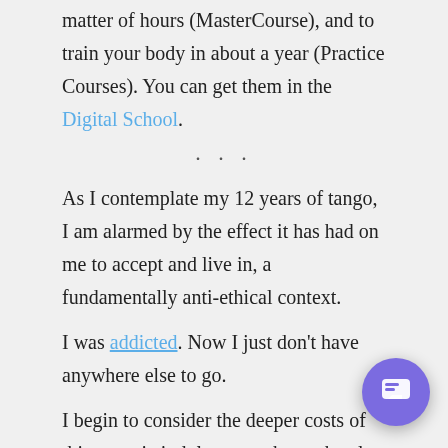matter of hours (MasterCourse), and to train your body in about a year (Practice Courses). You can get them in the Digital School.
...
As I contemplate my 12 years of tango, I am alarmed by the effect it has had on me to accept and live in, a fundamentally anti-ethical context.
I was addicted. Now I just don't have anywhere else to go.
I begin to consider the deeper costs of this ecstatic indulgence, whose ghostly traces I worship. I have been spending night after night